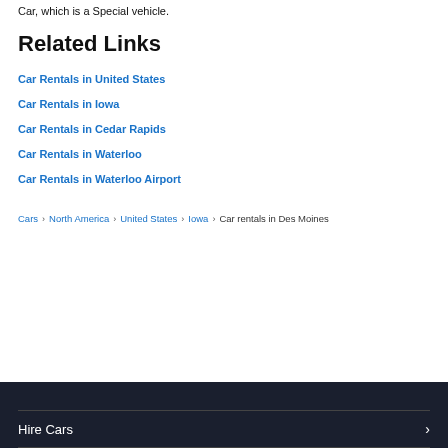Car, which is a Special vehicle.
Related Links
Car Rentals in United States
Car Rentals in Iowa
Car Rentals in Cedar Rapids
Car Rentals in Waterloo
Car Rentals in Waterloo Airport
Cars > North America > United States > Iowa > Car rentals in Des Moines
Hire Cars